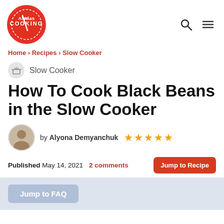Alonas Cooking — logo and nav icons
Home › Recipes › Slow Cooker
Slow Cooker
How To Cook Black Beans in the Slow Cooker
by Alyona Demyanchuk ★★★★★
Published May 14, 2021  2 comments  Jump to Recipe
Jump to FAQ